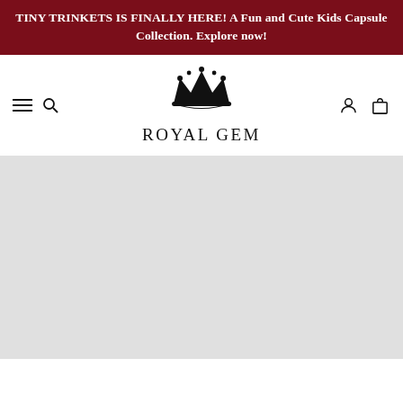TINY TRINKETS IS FINALLY HERE! A Fun and Cute Kids Capsule Collection. Explore now!
[Figure (logo): Royal Gem brand logo with crown icon above the text ROYAL GEM in spaced uppercase serif lettering, with navigation icons (hamburger menu, search, user, cart)]
[Figure (photo): Large light gray placeholder image area at the bottom of the page]